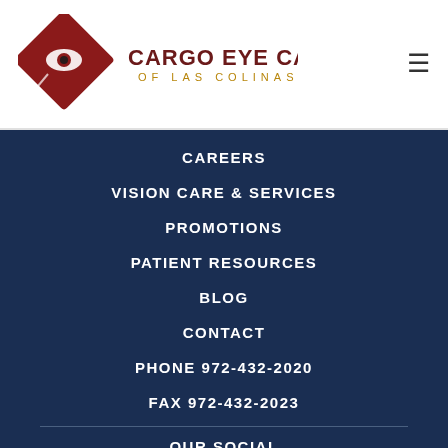[Figure (logo): Cargo Eye Care of Las Colinas logo with stylized red diamond/eye graphic and text]
CAREERS
VISION CARE & SERVICES
PROMOTIONS
PATIENT RESOURCES
BLOG
CONTACT
PHONE 972-432-2020
FAX 972-432-2023
OUR SOCIAL